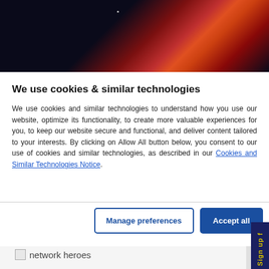[Figure (photo): Aerial night photo of a large circular industrial tank or stadium structure with red and orange light trails curving around it, against a dark background.]
We use cookies & similar technologies
We use cookies and similar technologies to understand how you use our website, optimize its functionality, to create more valuable experiences for you, to keep our website secure and functional, and deliver content tailored to your interests. By clicking on Allow All button below, you consent to our use of cookies and similar technologies, as described in our Cookies and Similar Technologies Notice.
[Figure (screenshot): Two buttons: 'Manage preferences' (outlined blue button) and 'Accept all' (solid dark blue button)]
[Figure (other): Dark blue vertical tab on the right side with yellow text 'Sign up f...' rotated vertically]
[Figure (logo): network heroes logo with small broken image icon]